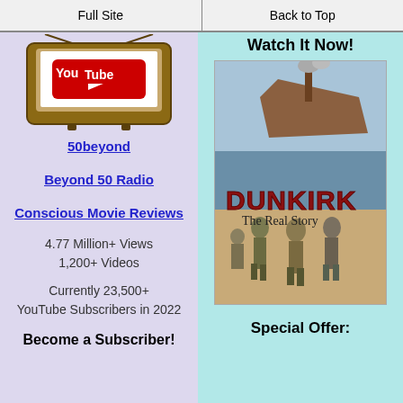Full Site | Back to Top
[Figure (screenshot): YouTube logo on an old TV set illustration]
50beyond
Beyond 50 Radio
Conscious Movie Reviews
4.77 Million+ Views
1,200+ Videos
Currently 23,500+
YouTube Subscribers in 2022
Become a Subscriber!
Watch It Now!
[Figure (photo): Dunkirk: The Real Story book/DVD cover showing soldiers evacuating Dunkirk beach and a ship sinking]
Special Offer: